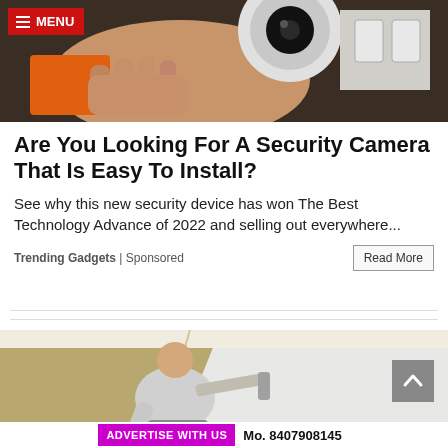[Figure (photo): A hand holding a white dome security camera, with an orange tool case and white electrical outlets in the background. Top navigation bar with red MENU button.]
Are You Looking For A Security Camera That Is Easy To Install?
See why this new security device has won The Best Technology Advance of 2022 and selling out everywhere...
Trending Gadgets | Sponsored
[Figure (photo): A bald man in a grey t-shirt painting a tan wall white with a paint roller.]
ADVERTISE WITH US  Mo. 8407908145